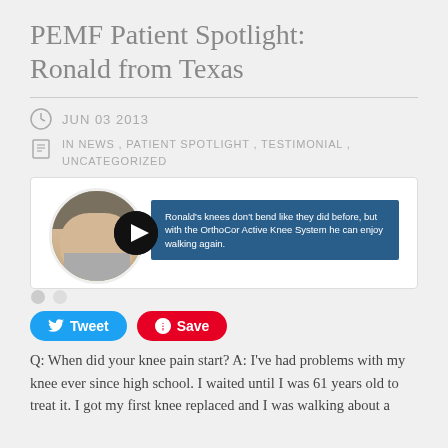PEMF Patient Spotlight: Ronald from Texas
JUN 03 2013
IN NEWS , PATIENT SPOTLIGHT , TESTIMONIAL , UNCATEGORIZED
[Figure (photo): Photo of an elderly man with a blue caption box reading: Ronald's knees don't bend like they did before, but with the OrthoCor Active Knee System he can enjoy walking again.]
Tweet  Save
Q: When did your knee pain start? A: I've had problems with my knee ever since high school. I waited until I was 61 years old to treat it. I got my first knee replaced and I was walking about a